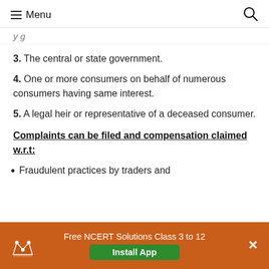Menu
y g
3. The central or state government.
4. One or more consumers on behalf of numerous consumers having same interest.
5. A legal heir or representative of a deceased consumer.
Complaints can be filed and compensation claimed w.r.t:
• Fraudulent practices by traders and
Free NCERT Solutions Class 3 to 12 Install App